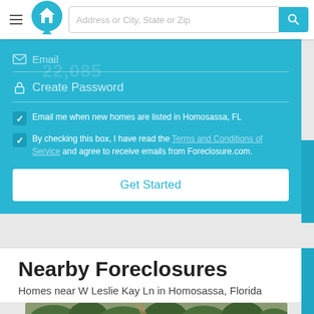[Figure (screenshot): Top navigation bar of Foreclosure.com website with hamburger menu, house logo, address search input, and search button]
[Figure (screenshot): Blue registration panel with email and create password fields, two checked checkboxes with consent text, and Get Started button]
Email me when new homes are listed in Homosassa, FL
By checking this box, I have read the Terms and Conditions of Service and agree to receive emails from Foreclosure.com.
Get Started
Nearby Foreclosures
Homes near W Leslie Kay Ln in Homosassa, Florida
[Figure (photo): Aerial satellite photo showing wooded area near W Leslie Kay Ln in Homosassa, Florida]